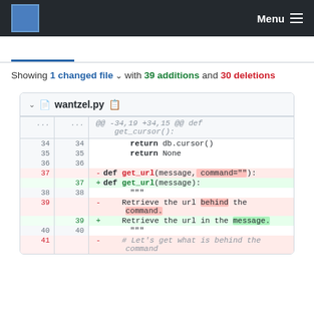Menu
Showing 1 changed file with 39 additions and 30 deletions
| old | new | code |
| --- | --- | --- |
| ... | ... | @@ -34,19 +34,15 @@ def get_cursor(): |
| 34 | 34 |     return db.cursor() |
| 35 | 35 |     return None |
| 36 | 36 |  |
| 37 |  | - def get_url(message, command=""): |
|  | 37 | + def get_url(message): |
| 38 | 38 |     """ |
| 39 |  | -     Retrieve the url behind the command. |
|  | 39 | +     Retrieve the url in the message. |
| 40 | 40 |     """ |
| 41 |  | -     # Let's get what is behind the command |